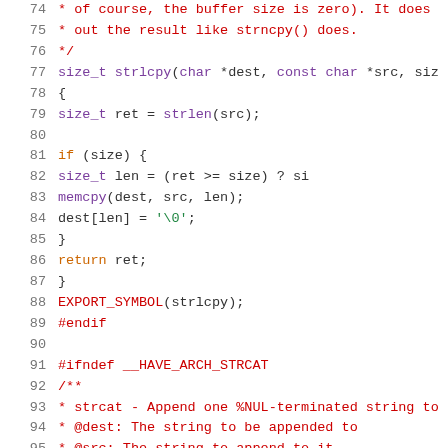Code listing: strlcpy and strcat C source code, lines 74-95